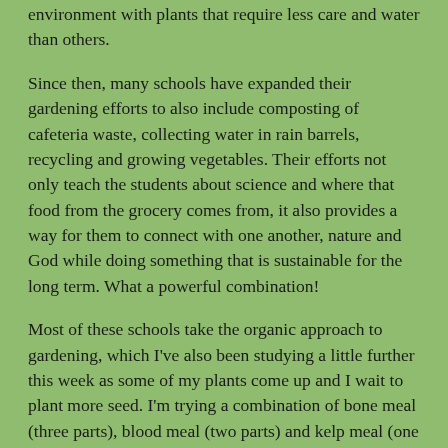environment with plants that require less care and water than others.
Since then, many schools have expanded their gardening efforts to also include composting of cafeteria waste, collecting water in rain barrels, recycling and growing vegetables. Their efforts not only teach the students about science and where that food from the grocery comes from, it also provides a way for them to connect with one another, nature and God while doing something that is sustainable for the long term. What a powerful combination!
Most of these schools take the organic approach to gardening, which I’ve also been studying a little further this week as some of my plants come up and I wait to plant more seed. I’m trying a combination of bone meal (three parts), blood meal (two parts) and kelp meal (one part) that is a recommended mixture that should have the balance most gardens need. I found the bone meal and blood meal locally, but had to order the kelp meal online.
I also stopped by a greenhouse this week that carries Neptune’s Harvest fish fertilizer. (When I asked for fish fertilizer, the clerk thought I wanted to fertilize fish in an aquarium.) It’s a good all